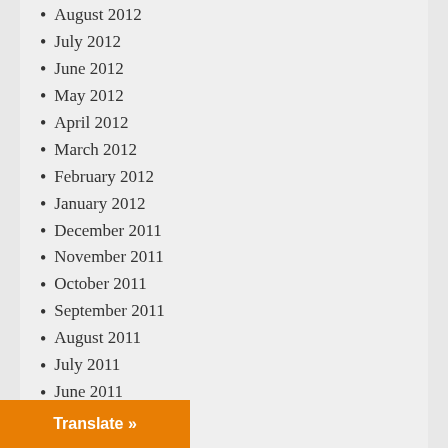August 2012
July 2012
June 2012
May 2012
April 2012
March 2012
February 2012
January 2012
December 2011
November 2011
October 2011
September 2011
August 2011
July 2011
June 2011
May 2011
August 2005
January 2004
Translate »